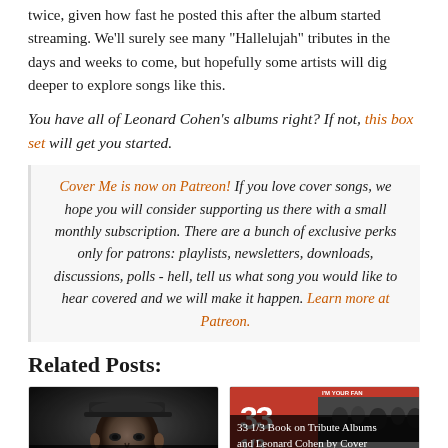twice, given how fast he posted this after the album started streaming. We’ll surely see many “Hallelujah” tributes in the days and weeks to come, but hopefully some artists will dig deeper to explore songs like this.
You have all of Leonard Cohen’s albums right? If not, this box set will get you started.
Cover Me is now on Patreon! If you love cover songs, we hope you will consider supporting us there with a small monthly subscription. There are a bunch of exclusive perks only for patrons: playlists, newsletters, downloads, discussions, polls - hell, tell us what song you would like to hear covered and we will make it happen. Learn more at Patreon.
Related Posts:
[Figure (photo): James Taylor portrait photo - dark background, man wearing cap]
James Taylor Covers "Coming Back to You" for New Leonard
[Figure (photo): 33 1/3 book cover - I'm Your Fan: The Songs of Leonard Cohen book with red and black design]
33 1/3 Book on Tribute Albums and Leonard Cohen by Cover